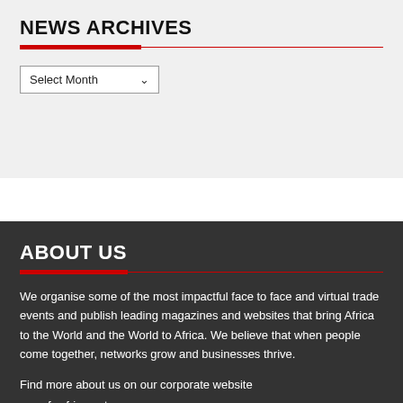NEWS ARCHIVES
Select Month
ABOUT US
We organise some of the most impactful face to face and virtual trade events and publish leading magazines and websites that bring Africa to the World and the World to Africa. We believe that when people come together, networks grow and businesses thrive.
Find more about us on our corporate website www.fwafrica.net